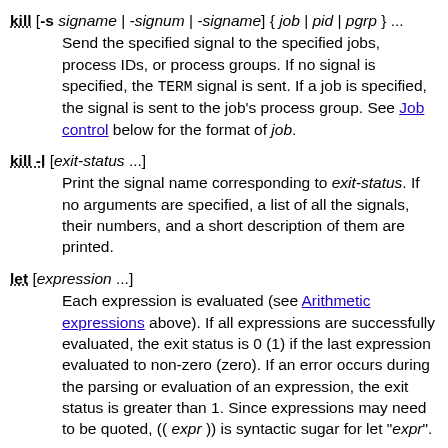kill [-s signame | -signum | -signame] { job | pid | pgrp } ... Send the specified signal to the specified jobs, process IDs, or process groups. If no signal is specified, the TERM signal is sent. If a job is specified, the signal is sent to the job's process group. See Job control below for the format of job.
kill -l [exit-status ...] Print the signal name corresponding to exit-status. If no arguments are specified, a list of all the signals, their numbers, and a short description of them are printed.
let [expression ...] Each expression is evaluated (see Arithmetic expressions above). If all expressions are successfully evaluated, the exit status is 0 (1) if the last expression evaluated to non-zero (zero). If an error occurs during the parsing or evaluation of an expression, the exit status is greater than 1. Since expressions may need to be quoted, (( expr )) is syntactic sugar for let "expr".
print [-nprsu[n] | -R [-en]] [argument ...] print prints its arguments on the standard output, separated by spaces and terminated with a newline. The -n option suppresses the newline. By default, certain C escapes are translated. These include '\b',